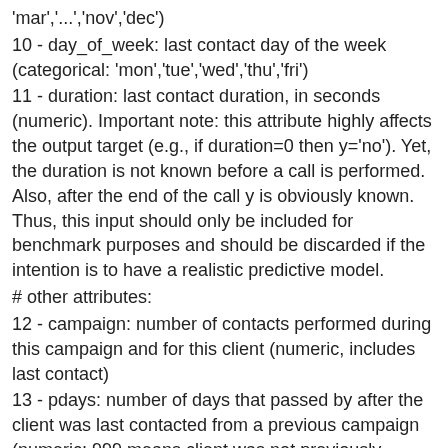'mar','...','nov','dec')
10 - day_of_week: last contact day of the week (categorical: 'mon','tue','wed','thu','fri')
11 - duration: last contact duration, in seconds (numeric). Important note: this attribute highly affects the output target (e.g., if duration=0 then y='no'). Yet, the duration is not known before a call is performed. Also, after the end of the call y is obviously known. Thus, this input should only be included for benchmark purposes and should be discarded if the intention is to have a realistic predictive model.
# other attributes:
12 - campaign: number of contacts performed during this campaign and for this client (numeric, includes last contact)
13 - pdays: number of days that passed by after the client was last contacted from a previous campaign (numeric; 999 means client was not previously contacted)
14 - previous: number of contacts performed before this campaign and for this client (numeric)
15 - poutcome: outcome of the previous marketing campaign (categorical: 'failure','nonexistent','success')
# social and economic context attributes
16 - emp.var.rate: employment variation rate - quarterly indicator (numeric)